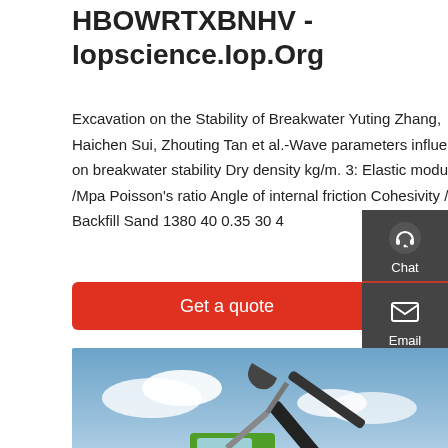HBOWRTXBNHV - Iopscience.Iop.Org
Excavation on the Stability of Breakwater Yuting Zhang, Haichen Sui, Zhouting Tan et al.-Wave parameters influence on breakwater stability Dry density kg/m. 3: Elastic modulus /Mpa Poisson's ratio Angle of internal friction Cohesivity /kPa Backfill Sand 1380 40 0.35 30 4
[Figure (other): Red 'Get a quote' button]
[Figure (photo): Green Zoomlion excavator machine against a blue sky with clouds, positioned on dirt ground.]